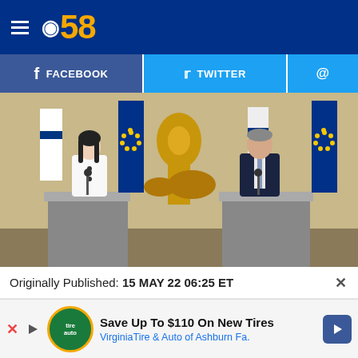CBS 58
[Figure (photo): Two officials stand at separate podiums at a press conference. A woman in a white blazer stands at the left podium. A man in a dark suit stands at the right podium. EU and Finnish flags are visible in the background along with a large golden statue.]
Originally Published: 15 MAY 22 06:25 ET
Save Up To $110 On New Tires VirginiaTire & Auto of Ashburn Fa.